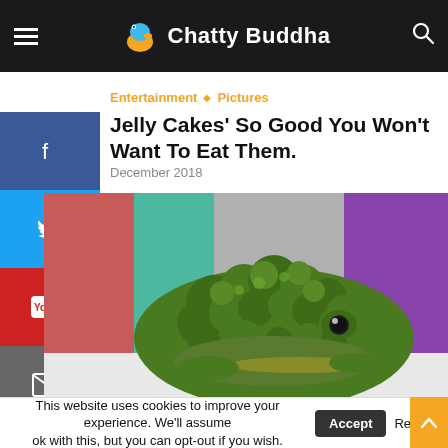Chatty Buddha
Entertainment ◇ Pictures
Jelly Cakes' So Good You Won't Want To Eat Them.
December 2018
[Figure (photo): A frog-shaped jelly cake designed to look like a frog made of broccoli, sitting on a white surface with colorful blurred backgrounds.]
This website uses cookies to improve your experience. We'll assume ok with this, but you can opt-out if you wish. Accept Read M